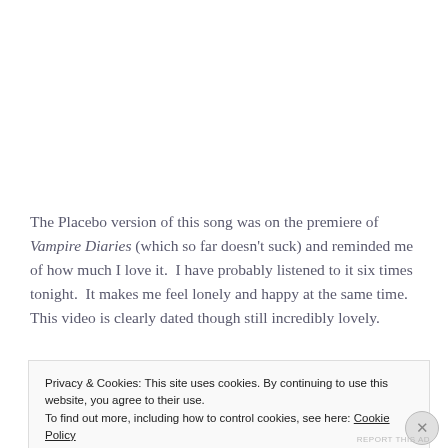The Placebo version of this song was on the premiere of Vampire Diaries (which so far doesn't suck) and reminded me of how much I love it.  I have probably listened to it six times tonight.  It makes me feel lonely and happy at the same time.  This video is clearly dated though still incredibly lovely.
Privacy & Cookies: This site uses cookies. By continuing to use this website, you agree to their use.
To find out more, including how to control cookies, see here: Cookie Policy
REPORT THIS AD